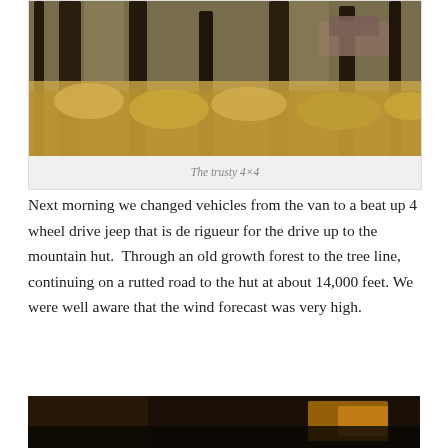[Figure (photo): A 4x4 jeep vehicle among tall pine trees and golden grassy undergrowth in a mountain forest setting]
The trusty 4×4
Next morning we changed vehicles from the van to a beat up 4 wheel drive jeep that is de rigueur for the drive up to the mountain hut.  Through an old growth forest to the tree line, continuing on a rutted road to the hut at about 14,000 feet. We were well aware that the wind forecast was very high.
[Figure (photo): Bottom portion of another photo, appears dark with some warm tones, partially visible at bottom of page]